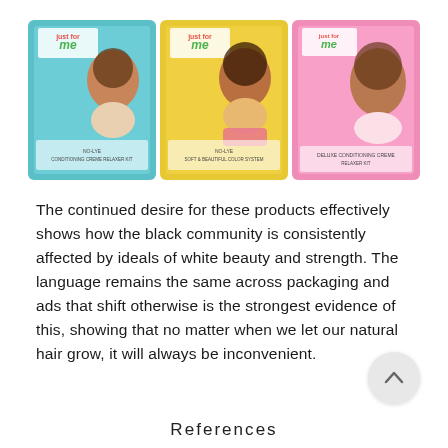[Figure (photo): Three 'Just for Me' hair product boxes shown side by side — a teal/blue box, a yellow box, and a pink box. Each box features a young Black girl on the packaging.]
The continued desire for these products effectively shows how the black community is consistently affected by ideals of white beauty and strength. The language remains the same across packaging and ads that shift otherwise is the strongest evidence of this, showing that no matter when we let our natural hair grow, it will always be inconvenient.
References